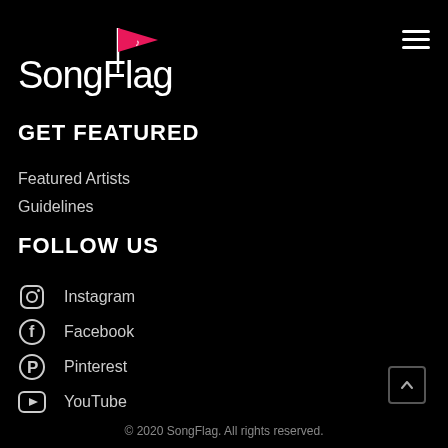[Figure (logo): SongFlag logo with pink flag and musical note icon and white text]
GET FEATURED
Featured Artists
Guidelines
FOLLOW US
Instagram
Facebook
Pinterest
YouTube
© 2020 SongFlag. All rights reserved.